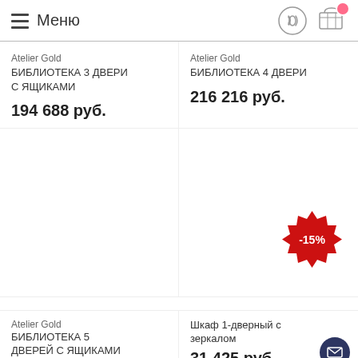Меню
Atelier Gold БИБЛИОТЕКА 3 ДВЕРИ С ЯЩИКАМИ
194 688 руб.
Atelier Gold БИБЛИОТЕКА 4 ДВЕРИ
216 216 руб.
[Figure (infographic): Red starburst discount badge showing -15%]
Atelier Gold БИБЛИОТЕКА 5 ДВЕРЕЙ С ЯЩИКАМИ
Шкаф 1-дверный с зеркалом
31 425 руб.